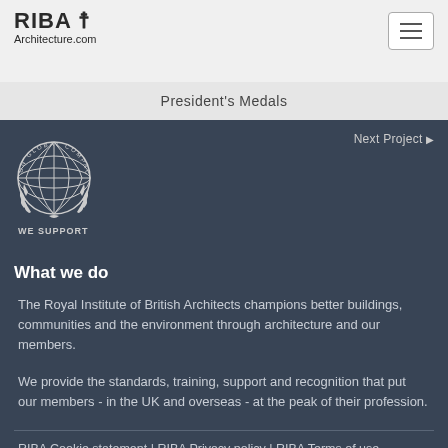RIBA Architecture.com
President's Medals
[Figure (logo): UN Global Compact logo with globe and laurel wreath, WE SUPPORT text below]
Next Project
What we do
The Royal Institute of British Architects champions better buildings, communities and the environment through architecture and our members.
We provide the standards, training, support and recognition that put our members - in the UK and overseas - at the peak of their profession.
RIBA Cookie statement | RIBA Privacy policy | RIBA Terms of use